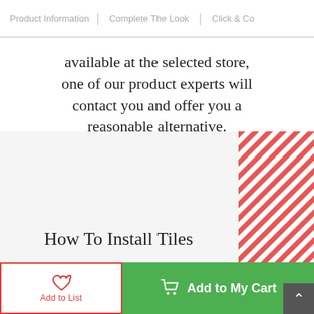Product Information | Complete The Look | Click & Co
available at the selected store, one of our product experts will contact you and offer you a reasonable alternative.
CHECK STOCK AVAILABILITY
How To Install Tiles
Add to List
Add to My Cart